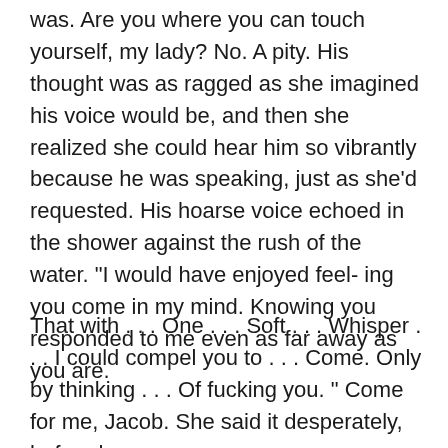was. Are you where you can touch yourself, my lady? No. A pity. His thought was as ragged as she imagined his voice would be, and then she realized she could hear him so vibrantly because he was speaking, just as she'd requested. His hoarse voice echoed in the shower against the rush of the water. "I would have enjoyed feel- ing you come in my mind. Knowing you responded to me even as far away as you are.
That with . . . One . . . Soft . . . Whisper . . . I could compel you to . . . Come. Only by thinking . . . Of fucking you. " Come for me, Jacob. She said it desperately, before he